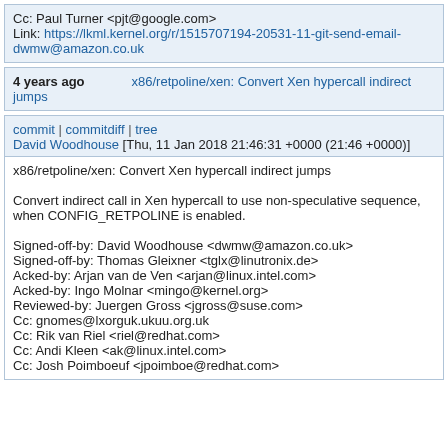Cc: Paul Turner <pjt@google.com>
Link: https://lkml.kernel.org/r/1515707194-20531-11-git-send-email-dwmw@amazon.co.uk
4 years ago    x86/retpoline/xen: Convert Xen hypercall indirect jumps
commit | commitdiff | tree
David Woodhouse [Thu, 11 Jan 2018 21:46:31 +0000 (21:46 +0000)]

x86/retpoline/xen: Convert Xen hypercall indirect jumps

Convert indirect call in Xen hypercall to use non-speculative sequence, when CONFIG_RETPOLINE is enabled.

Signed-off-by: David Woodhouse <dwmw@amazon.co.uk>
Signed-off-by: Thomas Gleixner <tglx@linutronix.de>
Acked-by: Arjan van de Ven <arjan@linux.intel.com>
Acked-by: Ingo Molnar <mingo@kernel.org>
Reviewed-by: Juergen Gross <jgross@suse.com>
Cc: gnomes@lxorguk.ukuu.org.uk
Cc: Rik van Riel <riel@redhat.com>
Cc: Andi Kleen <ak@linux.intel.com>
Cc: Josh Poimboeuf <jpoimboe@redhat.com>